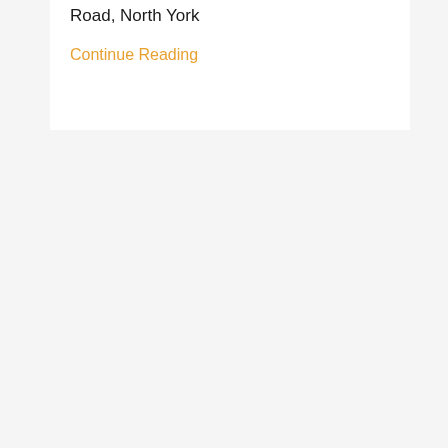Road, North York
Continue Reading